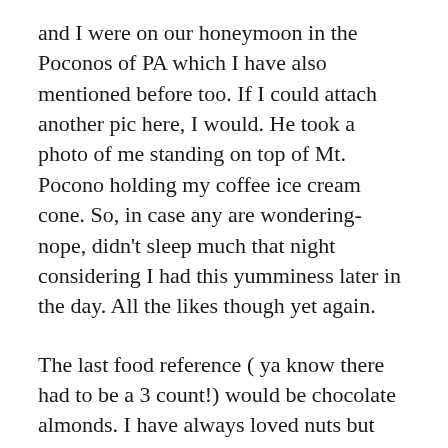and I were on our honeymoon in the Poconos of PA which I have also mentioned before too. If I could attach another pic here, I would. He took a photo of me standing on top of Mt. Pocono holding my coffee ice cream cone. So, in case any are wondering- nope, didn't sleep much that night considering I had this yumminess later in the day. All the likes though yet again.
The last food reference ( ya know there had to be a 3 count!) would be chocolate almonds. I have always loved nuts but another no-no for me right now, ugh! Dana had shared more little insights into Warrior likes and this was one of them. I think she talked about when they'd all